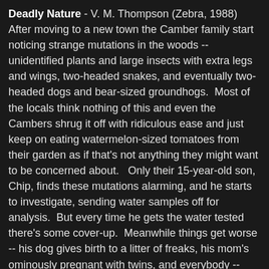Deadly Nature - V. M. Thompson (Zebra, 1988) After moving to a new town the Camber family start noticing strange mutations in the woods -- unidentified plants and large insects with extra legs and wings, two-headed snakes, and eventually two-headed dogs and bear-sized groundhogs.  Most of the locals think nothing of this and even the Cambers shrug it off with ridiculous ease and just keep on eating watermelon-sized tomatoes from their garden as if that's not anything they might want to be concerned about.   Only their 15-year-old son, Chip, finds these mutations alarming, and he starts to investigate, sending water samples off for analysis.  But every time he gets the water tested there's some cover-up.  Meanwhile things get worse -- his dog gives birth to a litter of freaks, his mom's ominously pregnant with twins, and everybody -- including his parents and pets -- become abnormally aggressive and angry.  Chip and his buddy Scott have a hard time getting any adults interested in the insane goings on, which makes this book a little absurd.  It's kind of a blend of David Seltzer's Prophecy with a Dean R. Koontz-style government conspiracy thriller, and it never really generates